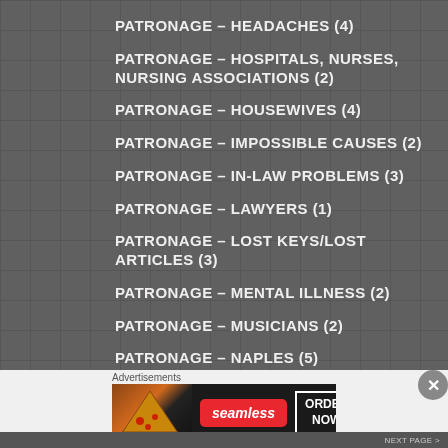PATRONAGE – HEADACHES (4)
PATRONAGE – HOSPITALS, NURSES, NURSING ASSOCIATIONS (2)
PATRONAGE – HOUSEWIVES (4)
PATRONAGE – IMPOSSIBLE CAUSES (2)
PATRONAGE – IN-LAW PROBLEMS (3)
PATRONAGE – LAWYERS (1)
PATRONAGE – LOST KEYS/LOST ARTICLES (3)
PATRONAGE – MENTAL ILLNESS (2)
PATRONAGE – MUSICIANS (2)
PATRONAGE – NAPLES (5)
Advertisements
[Figure (infographic): Seamless food delivery advertisement banner with pizza image, Seamless logo, and ORDER NOW button]